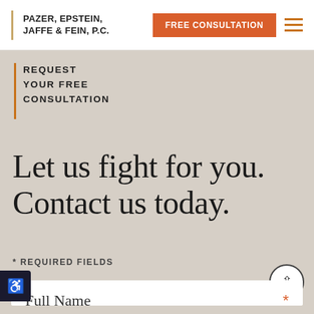PAZER, EPSTEIN, JAFFE & FEIN, P.C. | FREE CONSULTATION
REQUEST YOUR FREE CONSULTATION
Let us fight for you. Contact us today.
* REQUIRED FIELDS
Full Name *